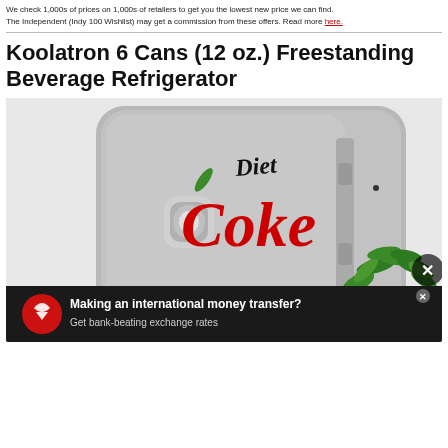We check 1,000s of prices on 1,000s of retailers to get you the lowest new price we can find. The Independent (Indy 100 Wishlist) may get a commission from these offers. Read more here.
Koolatron 6 Cans (12 oz.) Freestanding Beverage Refrigerator
[Figure (photo): A Diet Coke branded Koolatron mini fridge shown face-on, silver/grey in color with the Diet Coke logo on the front door, a handle, and a green potted plant beside it on the right. There is an advertisement banner overlay at the bottom promoting international money transfers with bank-beating exchange rates.]